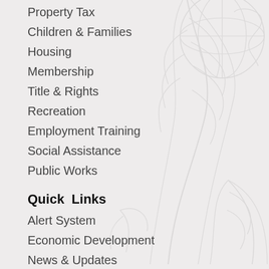Property Tax
Children & Families
Housing
Membership
Title & Rights
Recreation
Employment Training
Social Assistance
Public Works
Quick  Links
Alert System
Economic Development
News & Updates
Social Feeds